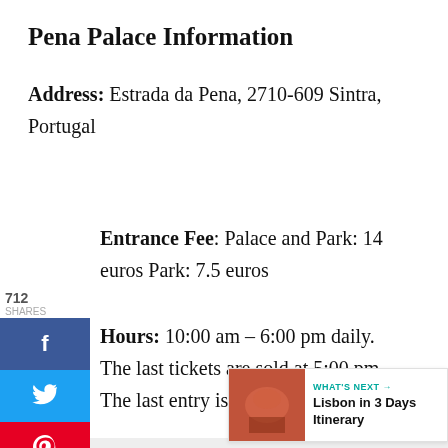Pena Palace Information
Address: Estrada da Pena, 2710-609 Sintra, Portugal
Entrance Fee: Palace and Park: 14 euros Park: 7.5 euros
Hours: 10:00 am – 6:00 pm daily. The last tickets are sold at 5:00 pm. The last entry is at 5:30 pm